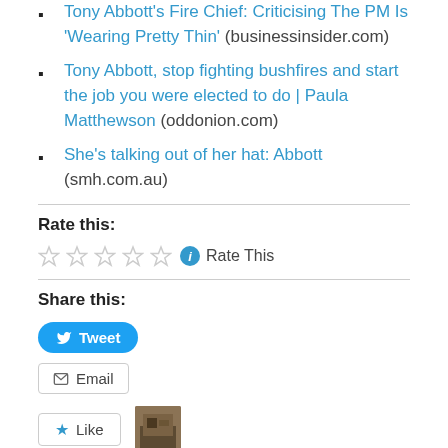Tony Abbott's Fire Chief: Criticising The PM Is 'Wearing Pretty Thin' (businessinsider.com)
Tony Abbott, stop fighting bushfires and start the job you were elected to do | Paula Matthewson (oddonion.com)
She's talking out of her hat: Abbott (smh.com.au)
Rate this:
Rate This
Share this:
Tweet
Email
Like